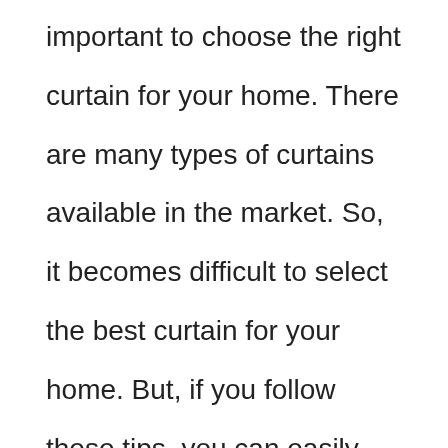important to choose the right curtain for your home. There are many types of curtains available in the market. So, it becomes difficult to select the best curtain for your home. But, if you follow these tips, you can easily buy the perfect curtains for your home. 1 Choose the material wisely. Fabric is